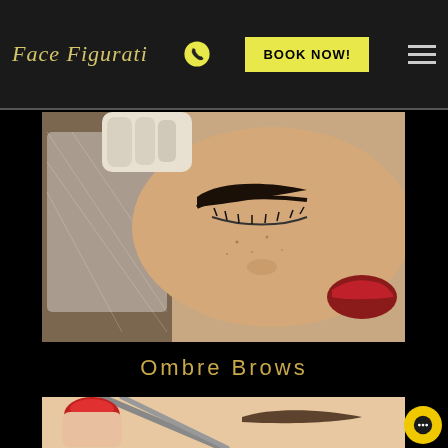Face Figurati — BOOK NOW! navigation header
[Figure (photo): Close-up photo of a woman with eyes closed receiving an eyebrow treatment, wearing a white mesh hair cover. A gloved hand holds tissue near her brow. She has bold dark brows and red lips.]
Ombre Brows
[Figure (photo): Close-up photo of tweezers with red nail-polished hand working on an eyebrow area on skin.]